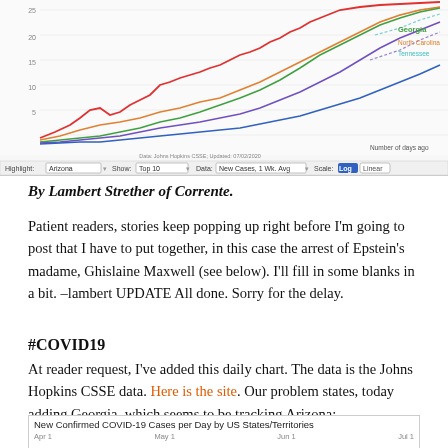[Figure (line-chart): Multi-line chart showing COVID-19 new cases 1 week average by US states (Top 10), with Georgia highlighted at top. Controls show Highlight: Arizona, Show: Top 10, Data: New Cases 1 Wk. Avg, Scale: Log/Linear.]
By Lambert Strether of Corrente.
Patient readers, stories keep popping up right before I'm going to post that I have to put together, in this case the arrest of Epstein's madame, Ghislaine Maxwell (see below). I'll fill in some blanks in a bit. –lambert UPDATE All done. Sorry for the delay.
#COVID19
At reader request, I've added this daily chart. The data is the Johns Hopkins CSSE data. Here is the site. Our problem states, today adding Georgia, which seems to be tracking Arizona:
[Figure (line-chart): New Confirmed COVID-19 Cases per Day by US States/Territories chart, partially visible at bottom of page with axis labels Apr 1, May 1, Jun 1, Jul 1.]